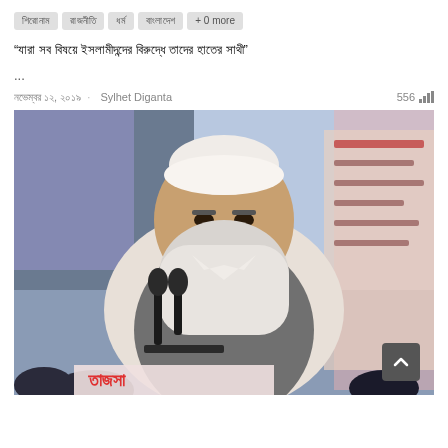[tag1] [tag2] [tag3] [tag4] + 0 more
“যারা সব বিষয়ে ইসলামীদন্দের বিরুদ্ধে তাদের হাতের সাথী”
...
নভেম্বর ১২, ২০১৯ · Sylhet Diganta · 556
[Figure (photo): An elderly man with a white beard wearing a white cap and grey vest speaking at a podium with microphones. There is Bengali text visible on a banner in the background.]